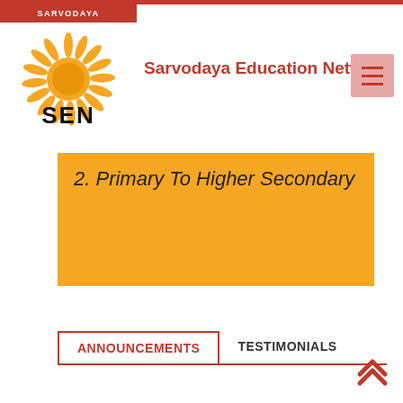Sarvodaya Education Network
2. Primary To Higher Secondary
ANNOUNCEMENTS
TESTIMONIALS